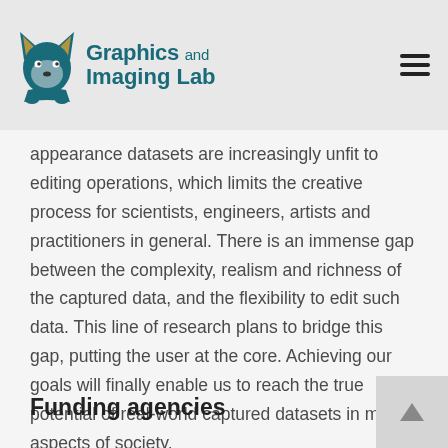Graphics and Imaging Lab
appearance datasets are increasingly unfit to editing operations, which limits the creative process for scientists, engineers, artists and practitioners in general. There is an immense gap between the complexity, realism and richness of the captured data, and the flexibility to edit such data. This line of research plans to bridge this gap, putting the user at the core. Achieving our goals will finally enable us to reach the true potential of real-world captured datasets in many aspects of society.
Funding agencies